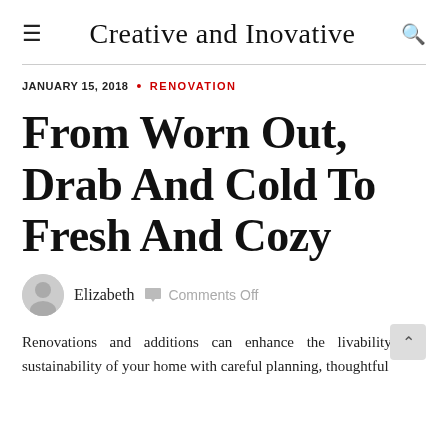Creative and Inovative
JANUARY 15, 2018 • RENOVATION
From Worn Out, Drab And Cold To Fresh And Cozy
Elizabeth   Comments Off
Renovations and additions can enhance the livability and sustainability of your home with careful planning, thoughtful